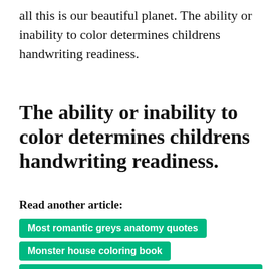all this is our beautiful planet. The ability or inability to color determines childrens handwriting readiness.
The ability or inability to color determines childrens handwriting readiness.
Read another article:
Most romantic greys anatomy quotes
Monster house coloring book
My little pony elements of harmony coloring page
Mustang coloring pages to print